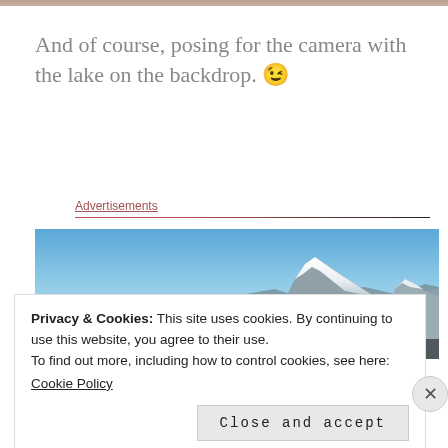[Figure (photo): Top strip of a photo partially visible at the top of the page]
And of course, posing for the camera with the lake on the backdrop. 😉
Advertisements
[Figure (photo): Mountain landscape with snow-capped peaks against a blue sky]
Privacy & Cookies: This site uses cookies. By continuing to use this website, you agree to their use.
To find out more, including how to control cookies, see here:
Cookie Policy
Close and accept